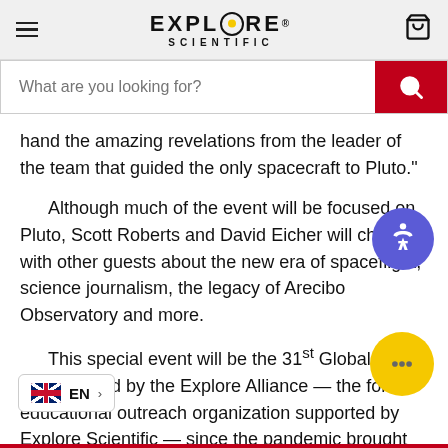Explore Scientific
What are you looking for?
hand the amazing revelations from the leader of the team that guided the only spacecraft to Pluto."
Although much of the event will be focused on Pluto, Scott Roberts and David Eicher will chat with other guests about the new era of spaceflight, science journalism, the legacy of Arecibo Observatory and more.
This special event will be the 31st Global Star Party hosted by the Explore Alliance — the formal educational outreach organization supported by Explore Scientific — since the pandemic brought most in-person star party events